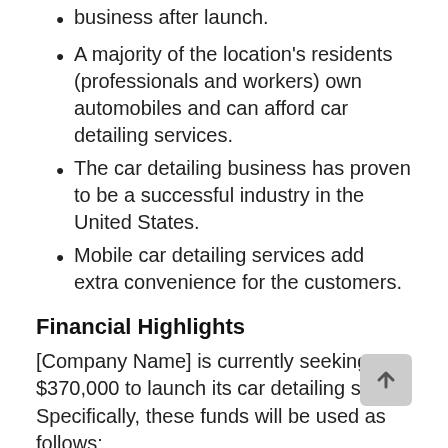business after launch.
A majority of the location's residents (professionals and workers) own automobiles and can afford car detailing services.
The car detailing business has proven to be a successful industry in the United States.
Mobile car detailing services add extra convenience for the customers.
Financial Highlights
[Company Name] is currently seeking $370,000 to launch its car detailing shop. Specifically, these funds will be used as follows:
Store design/build: $250,000
Working capital: $120,000 to pay for marketing, salaries, and lease costs until [Company Name]